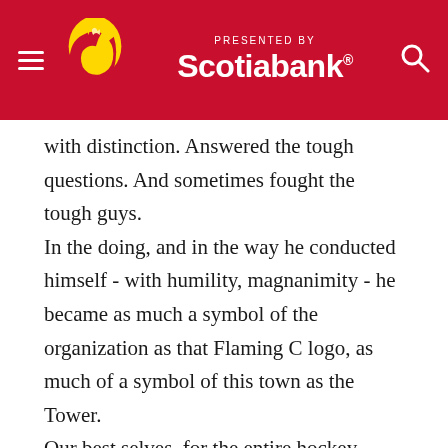Presented by Scotiabank
with distinction. Answered the tough questions. And sometimes fought the tough guys.
In the doing, and in the way he conducted himself - with humility, magnanimity - he became as much a symbol of the organization as that Flaming C logo, as much of a symbol of this town as the Tower.
Our best selves, for the entire hockey world to admire.
When after years upon years of struggle, he found the improbable 2004 dream punctured at the final hurdle, Game 7, in Tampa, his hurt was our hurt.
"This is the worst feeling you can have, the worst I've